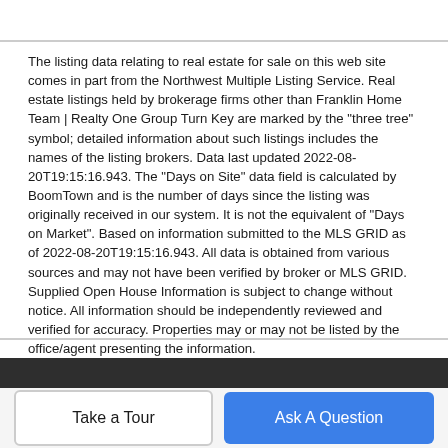The listing data relating to real estate for sale on this web site comes in part from the Northwest Multiple Listing Service. Real estate listings held by brokerage firms other than Franklin Home Team | Realty One Group Turn Key are marked by the "three tree" symbol; detailed information about such listings includes the names of the listing brokers. Data last updated 2022-08-20T19:15:16.943. The "Days on Site" data field is calculated by BoomTown and is the number of days since the listing was originally received in our system. It is not the equivalent of "Days on Market". Based on information submitted to the MLS GRID as of 2022-08-20T19:15:16.943. All data is obtained from various sources and may not have been verified by broker or MLS GRID. Supplied Open House Information is subject to change without notice. All information should be independently reviewed and verified for accuracy. Properties may or may not be listed by the office/agent presenting the information.
Take a Tour
Ask A Question